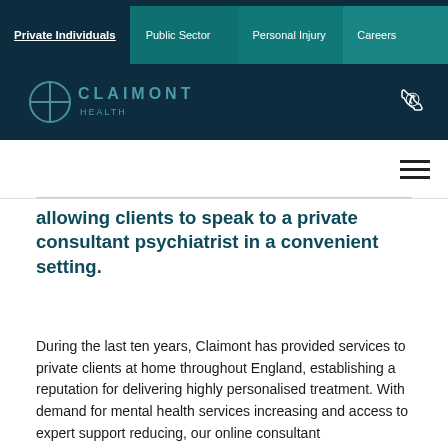Private Individuals | Public Sector | Personal Injury | Careers
[Figure (logo): Claimont Health logo with circular icon and text on dark teal background]
allowing clients to speak to a private consultant psychiatrist in a convenient setting.
During the last ten years, Claimont has provided services to private clients at home throughout England, establishing a reputation for delivering highly personalised treatment. With demand for mental health services increasing and access to expert support reducing, our online consultant